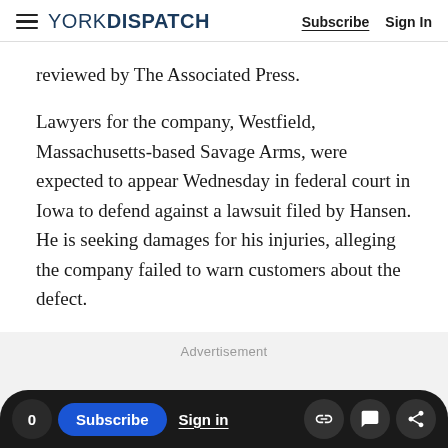YORK DISPATCH — Subscribe  Sign In
reviewed by The Associated Press.
Lawyers for the company, Westfield, Massachusetts-based Savage Arms, were expected to appear Wednesday in federal court in Iowa to defend against a lawsuit filed by Hansen. He is seeking damages for his injuries, alleging the company failed to warn customers about the defect.
Advertisement